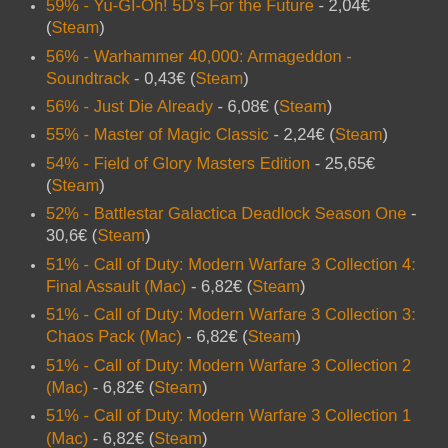59% - Yu-GI-Oh! 5D's For the Future - 2,04€ (Steam)
56% - Warhammer 40,000: Armageddon - Soundtrack - 0,43€ (Steam)
56% - Just Die Already - 6,08€ (Steam)
55% - Master of Magic Classic - 2,24€ (Steam)
54% - Field of Glory Masters Edition - 25,65€ (Steam)
52% - Battlestar Galactica Deadlock Season One - 30,6€ (Steam)
51% - Call of Duty: Modern Warfare 3 Collection 4: Final Assault (Mac) - 6,82€ (Steam)
51% - Call of Duty: Modern Warfare 3 Collection 3: Chaos Pack (Mac) - 6,82€ (Steam)
51% - Call of Duty: Modern Warfare 3 Collection 2 (Mac) - 6,82€ (Steam)
51% - Call of Duty: Modern Warfare 3 Collection 1 (Mac) - 6,82€ (Steam)
51% - Call of Duty: Modern Warfare 2 Stimulus